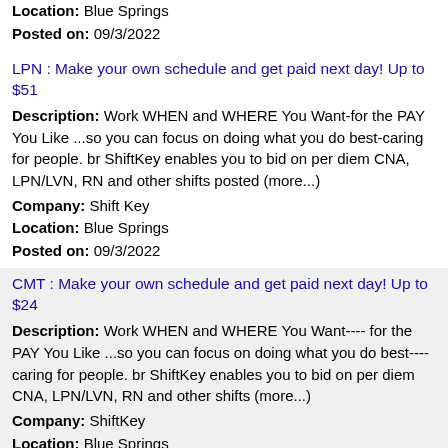Location: Blue Springs
Posted on: 09/3/2022
LPN : Make your own schedule and get paid next day! Up to $51
Description: Work WHEN and WHERE You Want-for the PAY You Like ...so you can focus on doing what you do best-caring for people. br ShiftKey enables you to bid on per diem CNA, LPN/LVN, RN and other shifts posted (more...)
Company: Shift Key
Location: Blue Springs
Posted on: 09/3/2022
CMT : Make your own schedule and get paid next day! Up to $24
Description: Work WHEN and WHERE You Want---- for the PAY You Like ...so you can focus on doing what you do best---- caring for people. br ShiftKey enables you to bid on per diem CNA, LPN/LVN, RN and other shifts (more...)
Company: ShiftKey
Location: Blue Springs
Posted on: 09/3/2022
Retail Merchandiser - Bilingual